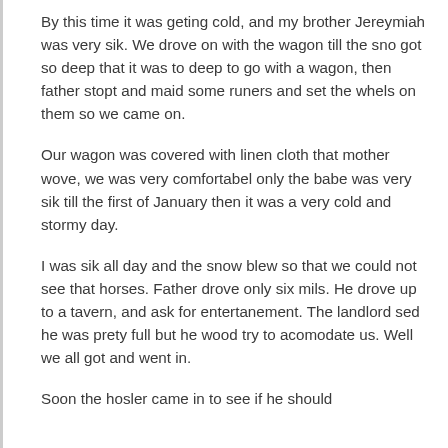By this time it was geting cold, and my brother Jereymiah was very sik. We drove on with the wagon till the sno got so deep that it was to deep to go with a wagon, then father stopt and maid some runers and set the whels on them so we came on.
Our wagon was covered with linen cloth that mother wove, we was very comfortabel only the babe was very sik till the first of January then it was a very cold and stormy day.
I was sik all day and the snow blew so that we could not see that horses. Father drove only six mils. He drove up to a tavern, and ask for entertanement. The landlord sed he was prety full but he wood try to acomodate us. Well we all got and went in.
Soon the hosler came in to see if he should